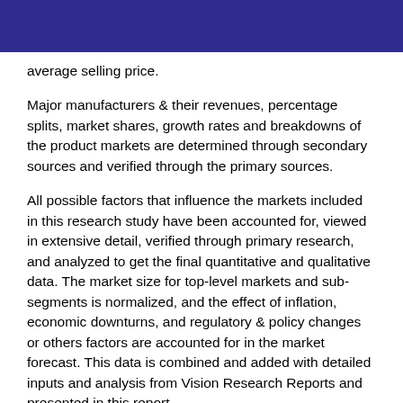average selling price.
Major manufacturers & their revenues, percentage splits, market shares, growth rates and breakdowns of the product markets are determined through secondary sources and verified through the primary sources.
All possible factors that influence the markets included in this research study have been accounted for, viewed in extensive detail, verified through primary research, and analyzed to get the final quantitative and qualitative data. The market size for top-level markets and sub-segments is normalized, and the effect of inflation, economic downturns, and regulatory & policy changes or others factors are accounted for in the market forecast. This data is combined and added with detailed inputs and analysis from Vision Research Reports and presented in this report.